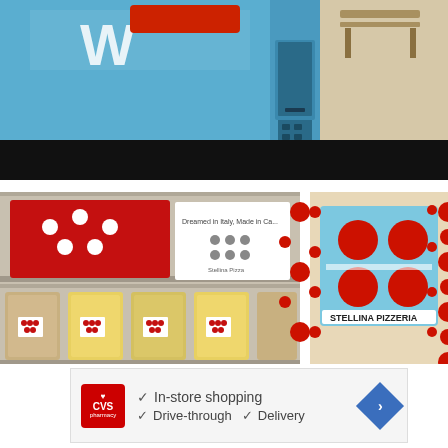[Figure (photo): Close-up photo of a blue vending machine with white logo text partially visible and a red banner overlay at top. A bench is partially visible in the background on the right side.]
[Figure (photo): Two-panel photo of a Stellina Pizzeria vending machine. Left panel shows interior of the machine with shelves containing pasta products in clear bags and a red promotional display. Right panel shows the exterior side of the machine with the Stellina Pizzeria branding: light blue panel with large red polka dots and the text STELLINA PIZZERIA.]
[Figure (infographic): CVS Pharmacy advertisement banner showing the CVS pharmacy logo with a heart on red background, checkmarks next to 'In-store shopping', 'Drive-through', and 'Delivery', and a blue diamond-shaped navigation icon with a right-arrow. Below are small ad disclosure icons (play triangle and X).]